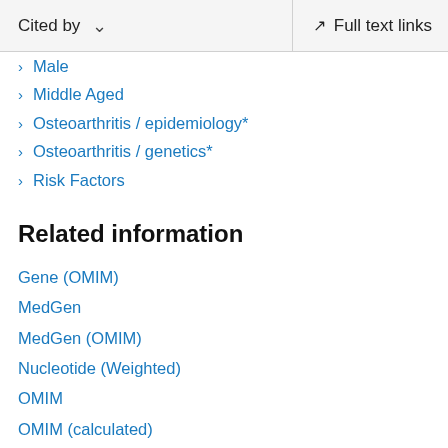Cited by    Full text links
Male
Middle Aged
Osteoarthritis / epidemiology*
Osteoarthritis / genetics*
Risk Factors
Related information
Gene (OMIM)
MedGen
MedGen (OMIM)
Nucleotide (Weighted)
OMIM
OMIM (calculated)
OMIM (cited)
Protein (Weighted)